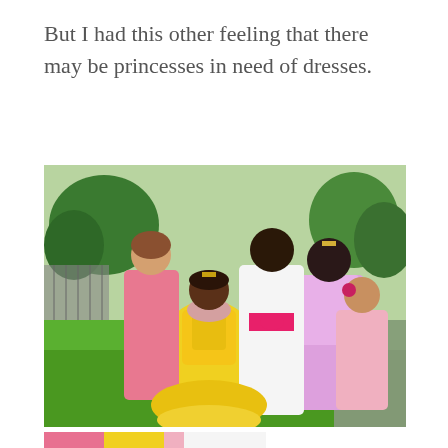But I had this other feeling that there may be princesses in need of dresses.
[Figure (photo): Five young girls dressed in princess costumes posing outdoors on a green lawn with trees and a fence in the background. One girl wears a yellow Belle-style gown, one wears a white dress with a pink sash, one in pink, and others in colorful outfits.]
[Figure (photo): Partial view of princess dresses in pink, yellow, and white at the bottom of the page.]